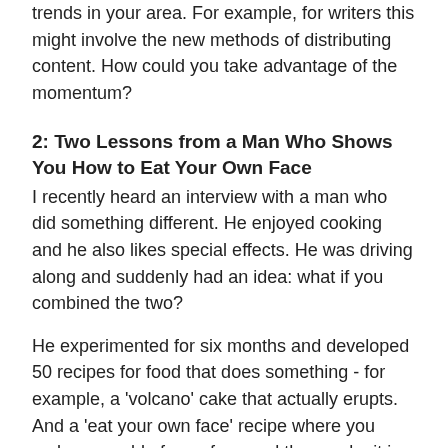trends in your area. For example, for writers this might involve the new methods of distributing content. How could you take advantage of the momentum?
2: Two Lessons from a Man Who Shows You How to Eat Your Own Face
I recently heard an interview with a man who did something different. He enjoyed cooking and he also likes special effects. He was driving along and suddenly had an idea: what if you combined the two?
He experimented for six months and developed 50 recipes for food that does something - for example, a 'volcano' cake that actually erupts. And a 'eat your own face' recipe where you make a mould of your face and then make it in Jello.
He published the book of recipes himself (originally with just a photocopier). It was a great hit around the holidays, especially Halloween and Christmas. The book received coverage in lots of newspaper food sections. His biggest